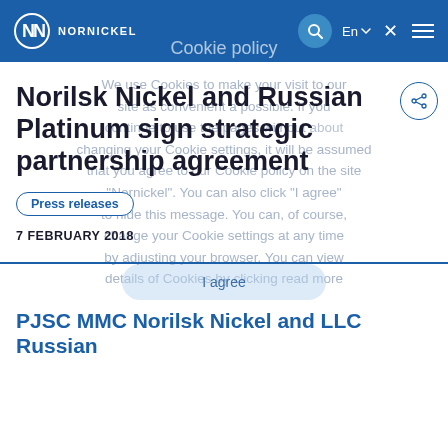NORNICKEL
Cookie policy
We use Cookies to make your visit to our site as convenient a possible. If you continue to use the pages without about changing your Cookie settings, it will be assumed that you agree to our Cookie policy on the site "Nornickel". You can also click "I agree" to hide this message. You can, of course, change your Cookie settings at any time by adjusting your browser. You can view details of Cookies by clicking read more
Norilsk Nickel and Russian Platinum sign strategic partnership agreement
Press releases
7 FEBRUARY 2018
I agree
PJSC MMC Norilsk Nickel and LLC Russian